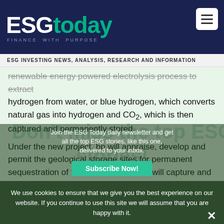ESGtoday - FINANCE WITH PURPOSE
ESG INVESTING NEWS, ANALYSIS, RESEARCH AND INFORMATION
renewable energy powered electrolysis process to extract hydrogen from water, or blue hydrogen, which converts natural gas into hydrogen and CO₂, which is then captured and permanently stored.
Under the new project, bp will appraise, develop and permit the geological storage sites for permanent sequestration of the CO2, while Linde will capture and compress the CO2 from its hydrogen production facilities using proprietary
We use cookies to ensure that we give you the best experience on our website. If you continue to use this site we will assume that you are happy with it.